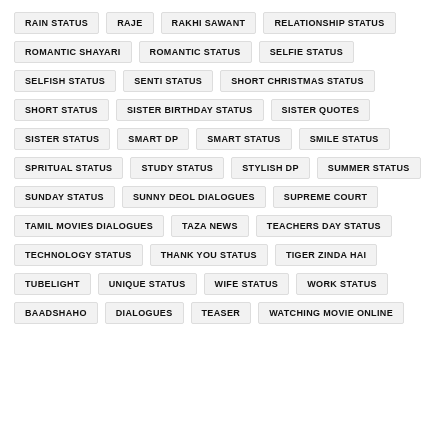RAIN STATUS
RAJE
RAKHI SAWANT
RELATIONSHIP STATUS
ROMANTIC SHAYARI
ROMANTIC STATUS
SELFIE STATUS
SELFISH STATUS
SENTI STATUS
SHORT CHRISTMAS STATUS
SHORT STATUS
SISTER BIRTHDAY STATUS
SISTER QUOTES
SISTER STATUS
SMART DP
SMART STATUS
SMILE STATUS
SPRITUAL STATUS
STUDY STATUS
STYLISH DP
SUMMER STATUS
SUNDAY STATUS
SUNNY DEOL DIALOGUES
SUPREME COURT
TAMIL MOVIES DIALOGUES
TAZA NEWS
TEACHERS DAY STATUS
TECHNOLOGY STATUS
THANK YOU STATUS
TIGER ZINDA HAI
TUBELIGHT
UNIQUE STATUS
WIFE STATUS
WORK STATUS
BAADSHAHO
DIALOGUES
TEASER
WATCHING MOVIE ONLINE